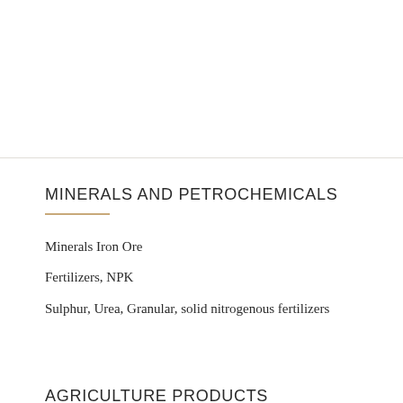MINERALS AND PETROCHEMICALS
Minerals Iron Ore
Fertilizers, NPK
Sulphur, Urea, Granular, solid nitrogenous fertilizers
AGRICULTURE PRODUCTS